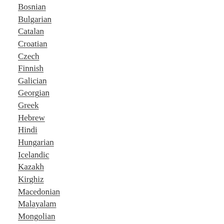Bosnian
Bulgarian
Catalan
Croatian
Czech
Finnish
Galician
Georgian
Greek
Hebrew
Hindi
Hungarian
Icelandic
Kazakh
Kirghiz
Macedonian
Malayalam
Mongolian
Persian